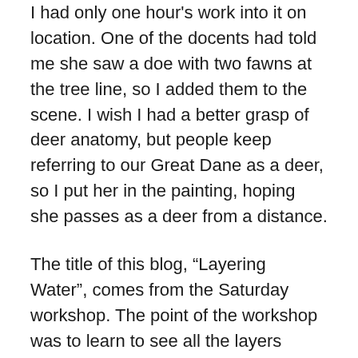I had only one hour's work into it on location. One of the docents had told me she saw a doe with two fawns at the tree line, so I added them to the scene. I wish I had a better grasp of deer anatomy, but people keep referring to our Great Dane as a deer, so I put her in the painting, hoping she passes as a deer from a distance.
The title of this blog, “Layering Water”, comes from the Saturday workshop. The point of the workshop was to learn to see all the layers created by water, and then, armed with that understanding, represent them in a painting. There is the reflection on the water, which requires that the water be relatively still. There is the surface at the bottom of the water, which requires either no reflections, or that any reflected object be in shadow–you cannot see through a reflection if the reflection is lit. If you can see the bottom rocks, mud and whatever, you